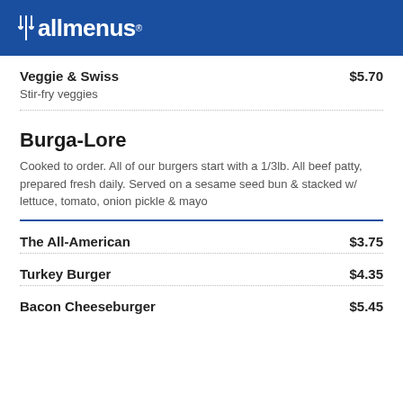allmenus
Veggie & Swiss  $5.70
Stir-fry veggies
Burga-Lore
Cooked to order. All of our burgers start with a 1/3lb. All beef patty, prepared fresh daily. Served on a sesame seed bun & stacked w/ lettuce, tomato, onion pickle & mayo
The All-American  $3.75
Turkey Burger  $4.35
Bacon Cheeseburger  $5.45